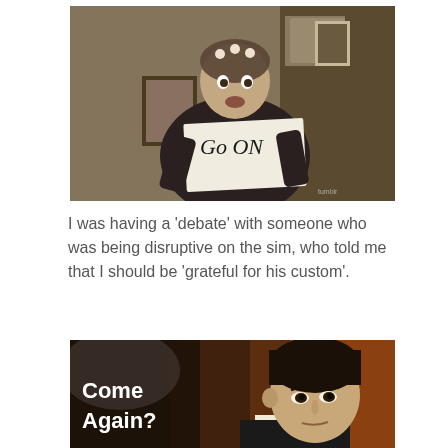[Figure (photo): A woman holding a sign that reads 'Go ON' handwritten on paper, standing in an indoor setting with bookshelves and pictures in the background.]
I was having a 'debate' with someone who was being disruptive on the sim, who told me that I should be 'grateful for his custom'.
[Figure (photo): A man with dark hair looking with a skeptical expression, with text overlay reading 'Come Again?' in white bold font. Dark warm-toned background.]